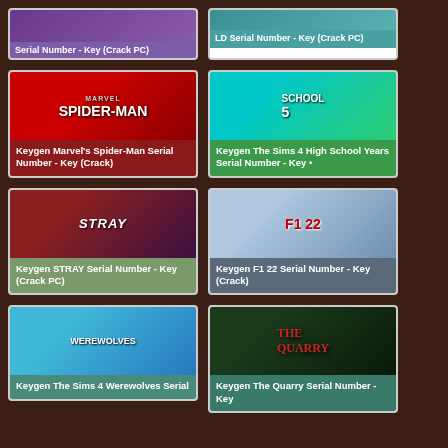[Figure (screenshot): Partially visible card - Serial Number Key (Crack PC) with purple label]
[Figure (screenshot): Partially visible card - LD Serial Number Key (Crack PC) with teal label]
[Figure (screenshot): Keygen Marvel's Spider-Man Serial Number - Key (Crack) game card]
[Figure (screenshot): Keygen The Sims 4 High School Years Serial Number - Key game card]
[Figure (screenshot): Keygen STRAY Serial Number - Key (Crack PC) game card]
[Figure (screenshot): Keygen F1 22 Serial Number - Key (Crack) game card]
[Figure (screenshot): Keygen The Sims 4 Werewolves Serial (partially visible) game card]
[Figure (screenshot): Keygen The Quarry Serial Number - Key (partially visible) game card]